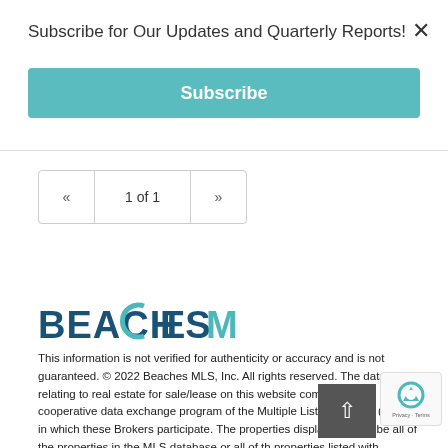Subscribe for Our Updates and Quarterly Reports!
Subscribe
« 1 of 1 »
[Figure (logo): Beaches MLS logo with teal C letter]
This information is not verified for authenticity or accuracy and is not guaranteed. © 2022 Beaches MLS, Inc. All rights reserved. The data relating to real estate for sale/lease on this website comes from a cooperative data exchange program of the Multiple Listing Service (MLS) in which these Brokers participate. The properties displayed may not be all of the properties in the MLS database or all of the properties listed with Brokers participating in the cooperative data